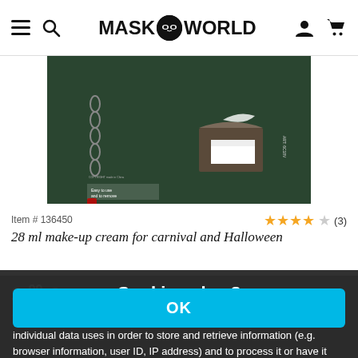MASK WORLD
[Figure (photo): Product image of 28 ml make-up cream packaging against dark green background]
Item # 136450
28 ml make-up cream for carnival and Halloween
★★★★☆ (3)
3,99 €
+ shipping
Cookies okay?
Together with our partners, we require your consent (click on "OK") for individual data uses in order to store and retrieve information (e.g. browser information, user ID, IP address) and to process it or have it processed. The data usage is for personalised functionalities, content and ads
OK